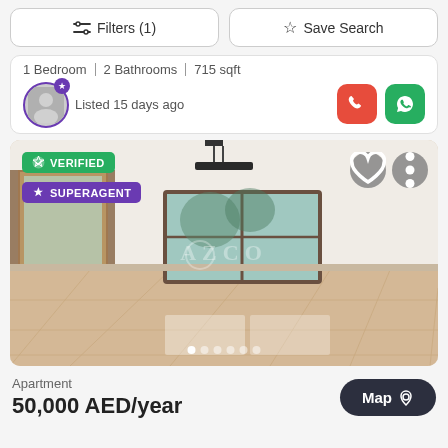Filters (1)    Save Search
1 Bedroom  |  2 Bathrooms  |  715 sqft
Listed 15 days ago
[Figure (photo): Interior photo of an empty apartment room with marble tile floor, white walls, a window, ceiling light fixture, and AZCO watermark. Badges: VERIFIED, SUPERAGENT. Navigation dots at the bottom.]
Apartment
50,000 AED/year